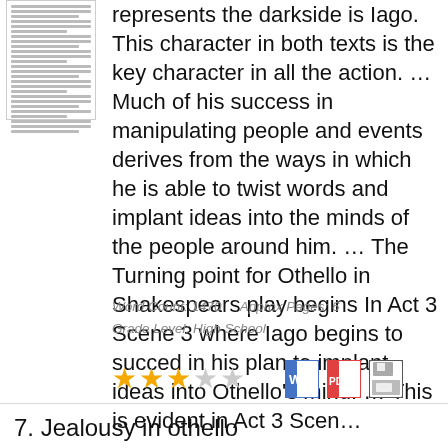[Figure (illustration): Thumbnail image of a document page with small text lines]
represents the darkside is Iago. This character in both texts is the key character in all the action. … Much of his success in manipulating people and events derives from the ways in which he is able to twist words and implant ideas into the minds of the people around him. … The Turning point for Othello in Shakespears play begins In Act 3 Scene 3 where Iago begins to succed in his plan to implant ideas into Othello's mind. … This is evident in Act 3 Scen…
Word Count: 1470     Approx Pages: 6
Grade Level: High School
[Figure (other): 3 filled gold stars and 2 empty stars rating, plus Word doc icon, PDF icon, and save icon]